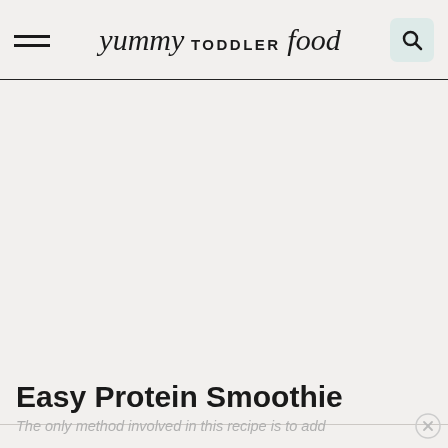yummy TODDLER food
[Figure (other): Large blank/empty content area placeholder (advertisement or image not loaded)]
Easy Protein Smoothie
The only method involved in this recipe is to add